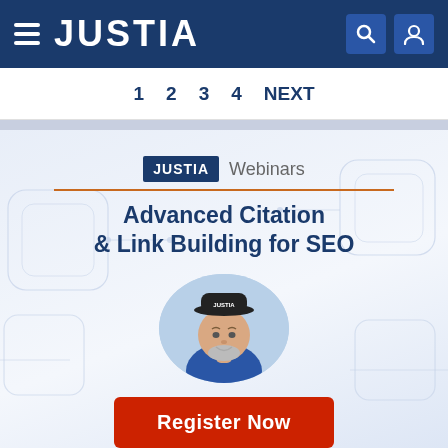JUSTIA
1  2  3  4  NEXT
[Figure (screenshot): Justia Webinars page showing 'Advanced Citation & Link Building for SEO' webinar with speaker photo and Register Now button]
Advanced Citation & Link Building for SEO
Register Now